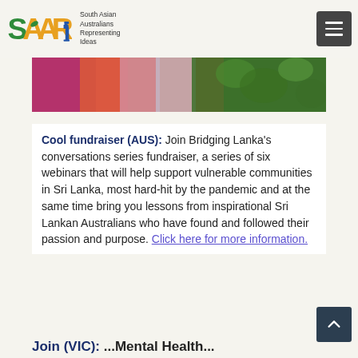SAARI — South Asian Australians Representing Ideas
[Figure (photo): Hero banner image showing colorful fabric/clothing and green foliage]
Cool fundraiser (AUS): Join Bridging Lanka's conversations series fundraiser, a series of six webinars that will help support vulnerable communities in Sri Lanka, most hard-hit by the pandemic and at the same time bring you lessons from inspirational Sri Lankan Australians who have found and followed their passion and purpose. Click here for more information.
Join (VIC): ...Mental Health...